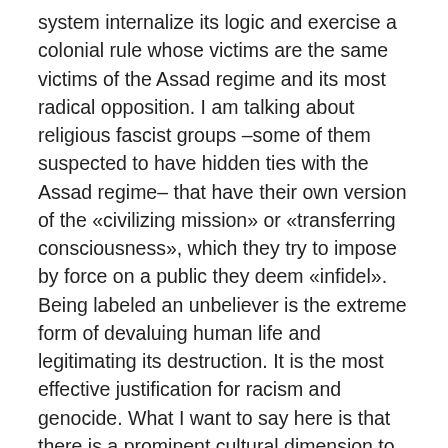system internalize its logic and exercise a colonial rule whose victims are the same victims of the Assad regime and its most radical opposition. I am talking about religious fascist groups –some of them suspected to have hidden ties with the Assad regime– that have their own version of the «civilizing mission» or «transferring consciousness», which they try to impose by force on a public they deem «infidel». Being labeled an unbeliever is the extreme form of devaluing human life and legitimating its destruction. It is the most effective justification for racism and genocide. What I want to say here is that there is a prominent cultural dimension to Assad's killing industry and its derivatives which necessitates an effective